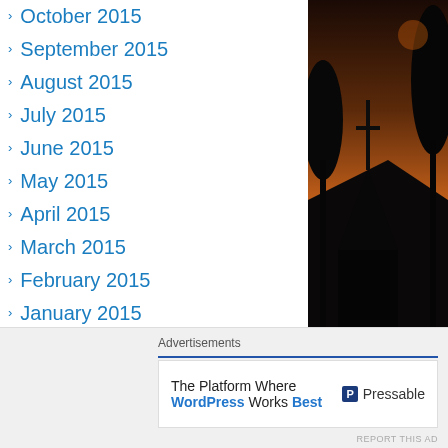October 2015
September 2015
August 2015
July 2015
June 2015
May 2015
April 2015
March 2015
February 2015
January 2015
December 2014
November 2014
October 2014
September 2014
August 2014
July 2014
June 2014
May 2014
[Figure (photo): Silhouette of Concordia Lutheran church and trees at dawn/dusk with orange sky]
Concordia Luthera... Cerritos, Ca , at daw...
Advertisements
[Figure (screenshot): Pressable advertisement banner: The Platform Where WordPress Works Best]